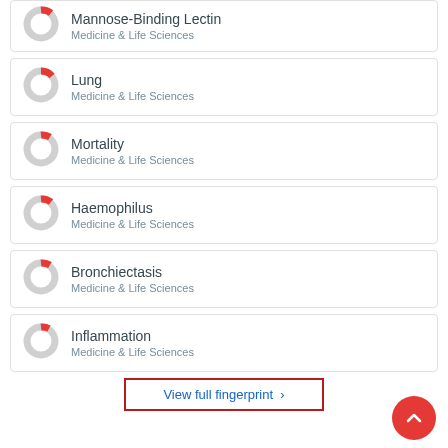[Figure (donut-chart): Donut chart for Mannose-Binding Lectin with small red filled segment]
Mannose-Binding Lectin
Medicine & Life Sciences
[Figure (donut-chart): Donut chart for Lung with small red filled segment]
Lung
Medicine & Life Sciences
[Figure (donut-chart): Donut chart for Mortality with small red filled segment]
Mortality
Medicine & Life Sciences
[Figure (donut-chart): Donut chart for Haemophilus with small red filled segment]
Haemophilus
Medicine & Life Sciences
[Figure (donut-chart): Donut chart for Bronchiectasis with small red filled segment]
Bronchiectasis
Medicine & Life Sciences
[Figure (donut-chart): Donut chart for Inflammation with small red filled segment]
Inflammation
Medicine & Life Sciences
View full fingerprint >